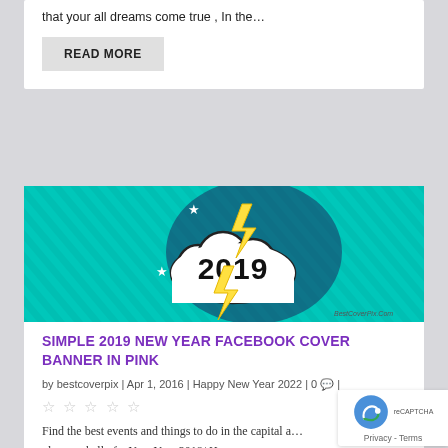that your all dreams come true , In the…
READ MORE
[Figure (illustration): 2019 New Year banner with teal/turquoise diagonal striped background, comic-style cloud with '2019' text, yellow lightning bolts, white stars, and dark halftone circle. BestCoverPix.Com watermark in bottom right.]
SIMPLE 2019 NEW YEAR FACEBOOK COVER BANNER IN PINK
by bestcoverpix | Apr 1, 2016 | Happy New Year 2022 | 0 💬 |
★★★★★
Find the best events and things to do in the capital a… plan one hell of a New Year 2018/ Happy…